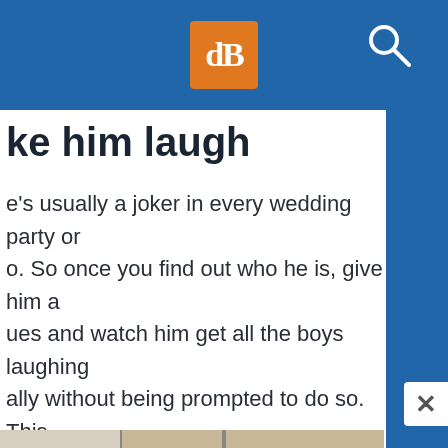dB (logo) | search icon — navigation bar
ke him laugh
e's usually a joker in every wedding party or o. So once you find out who he is, give him a ues and watch him get all the boys laughing ally without being prompted to do so. This ring out everyone's real character.
[Figure (photo): Group of men in suits laughing together at a wedding, cropped image showing several groomsmen.]